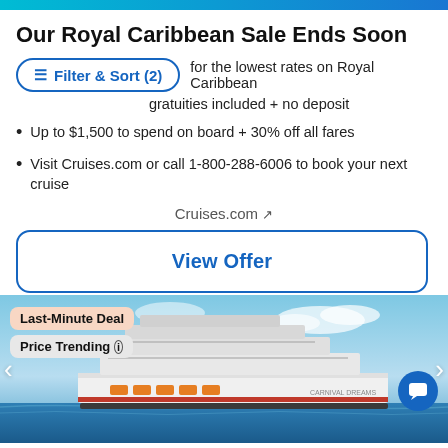Our Royal Caribbean Sale Ends Soon
for the lowest rates on Royal Caribbean
gratuities included + no deposit
Up to $1,500 to spend on board + 30% off all fares
Visit Cruises.com or call 1-800-288-6006 to book your next cruise
Cruises.com ↗
View Offer
[Figure (photo): A large cruise ship (Carnival cruise line) sailing on blue water with sky in background. Badges overlay: 'Last-Minute Deal' and 'Price Trending ⓘ'. Navigation arrows on left and right. Chat button on right side.]